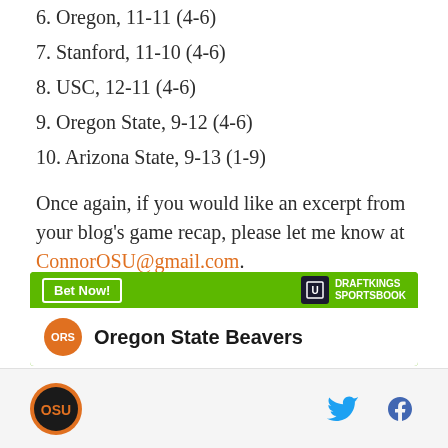6. Oregon, 11-11 (4-6)
7. Stanford, 11-10 (4-6)
8. USC, 12-11 (4-6)
9. Oregon State, 9-12 (4-6)
10. Arizona State, 9-13 (1-9)
Once again, if you would like an excerpt from your blog's game recap, please let me know at ConnorOSU@gmail.com.
--Connor
[Figure (infographic): DraftKings Sportsbook advertisement banner with green header showing 'Bet Now!' button and DraftKings Sportsbook logo, and white section showing Oregon State Beavers team with ORS orange badge.]
Oregon State Beavers logo, Twitter and Facebook social icons